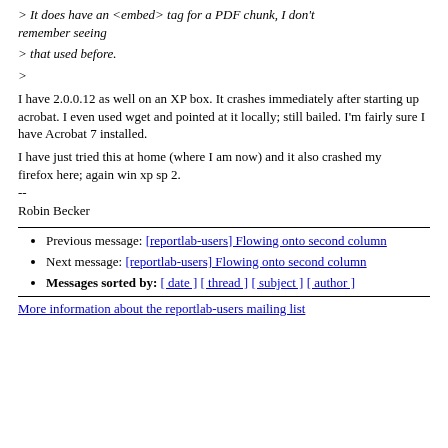> It does have an <embed> tag for a PDF chunk, I don't remember seeing
> that used before.
>
I have 2.0.0.12 as well on an XP box. It crashes immediately after starting up acrobat. I even used wget and pointed at it locally; still bailed. I'm fairly sure I have Acrobat 7 installed.
I have just tried this at home (where I am now) and it also crashed my
firefox here; again win xp sp 2.
--
Robin Becker
Previous message: [reportlab-users] Flowing onto second column
Next message: [reportlab-users] Flowing onto second column
Messages sorted by: [ date ] [ thread ] [ subject ] [ author ]
More information about the reportlab-users mailing list